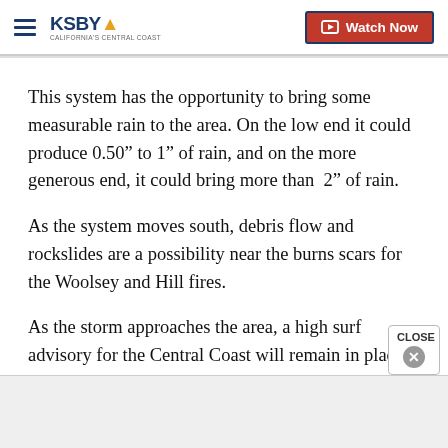KSBY California's Central Coast — Watch Now
This system has the opportunity to bring some measurable rain to the area. On the low end it could produce 0.50” to 1” of rain, and on the more generous end, it could bring more than 2” of rain.
As the system moves south, debris flow and rockslides are a possibility near the burns scars for the Woolsey and Hill fires.
As the storm approaches the area, a high surf advisory for the Central Coast will remain in place from Tuesday afternoon through Friday. The surf could